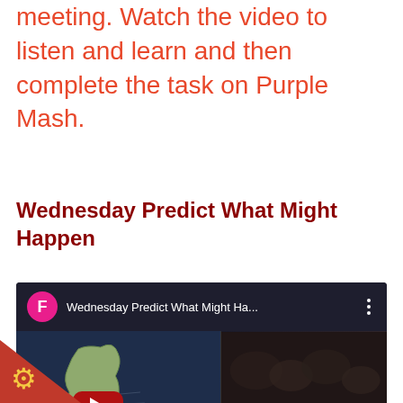meeting. Watch the video to listen and learn and then complete the task on Purple Mash.
Wednesday Predict What Might Happen
[Figure (screenshot): YouTube video thumbnail titled 'Wednesday Predict What Might Ha...' with a pink avatar 'F', showing a map of Scotland on the left and nature/map images on the right, with a red YouTube play button in the center.]